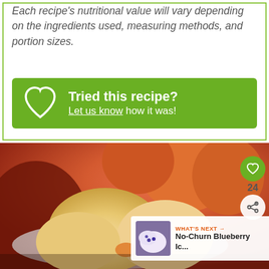Each recipe's nutritional value will vary depending on the ingredients used, measuring methods, and portion sizes.
[Figure (infographic): Green CTA button with heart icon reading 'Tried this recipe? Let us know how it was!']
[Figure (photo): Close-up photo of peach ice cream scoops in a white bowl with fresh peaches in the background. Social sharing sidebar with heart icon, count 24, and share icon. 'What's Next' banner showing No-Churn Blueberry Ice cream thumbnail.]